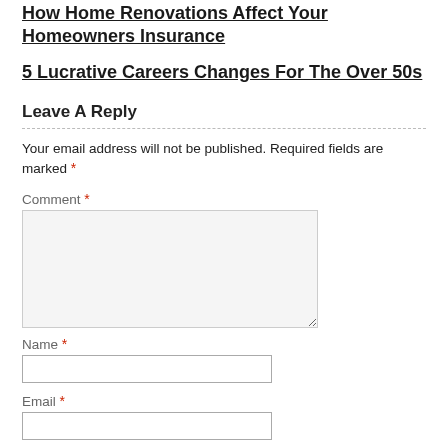How Home Renovations Affect Your Homeowners Insurance
5 Lucrative Careers Changes For The Over 50s
Leave A Reply
Your email address will not be published. Required fields are marked *
Comment *
Name *
Email *